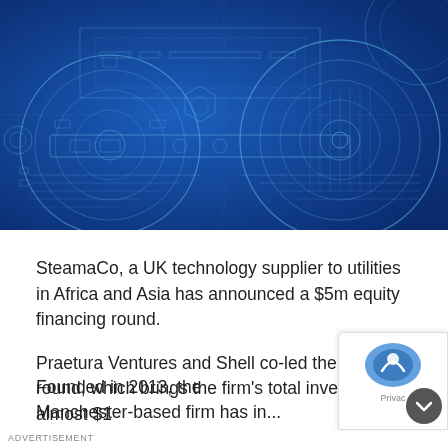[Figure (illustration): Blue engineering/technical blueprint background illustration featuring mechanical gears, circular technical diagrams, and schematic drawings on a deep blue gradient background.]
SteamaCo, a UK technology supplier to utilities in Africa and Asia has announced a $5m equity financing round.
Praetura Ventures and Shell co-led the Series B round, which brings the firm's total invesment to almost $1
Founded in 2013, the Manchester-based firm has in...
ADVERTISEMENT